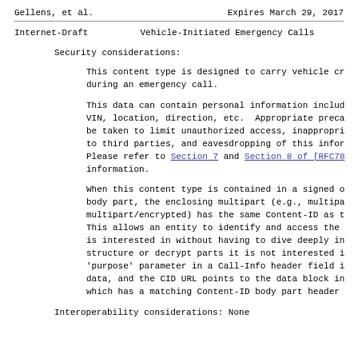Gellens, et al.        Expires March 29, 2017
Internet-Draft      Vehicle-Initiated Emergency Calls
Security considerations:
This content type is designed to carry vehicle cr during an emergency call.
This data can contain personal information includ VIN, location, direction, etc.  Appropriate preca be taken to limit unauthorized access, inappropri to third parties, and eavesdropping of this infor Please refer to Section 7 and Section 8 of [RFC78 information.
When this content type is contained in a signed o body part, the enclosing multipart (e.g., multipa multipart/encrypted) has the same Content-ID as t This allows an entity to identify and access the is interested in without having to dive deeply in structure or decrypt parts it is not interested i 'purpose' parameter in a Call-Info header field i data, and the CID URL points to the data block in which has a matching Content-ID body part header
Interoperability considerations: None